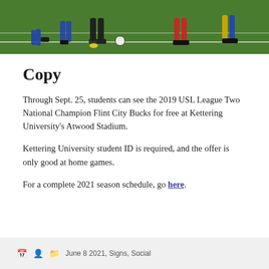[Figure (photo): Soccer/football players on a green field during a match, showing legs and feet in action]
Copy
Through Sept. 25, students can see the 2019 USL League Two National Champion Flint City Bucks for free at Kettering University's Atwood Stadium.
Kettering University student ID is required, and the offer is only good at home games.
For a complete 2021 season schedule, go here.
June 8 2021, Signs, Social